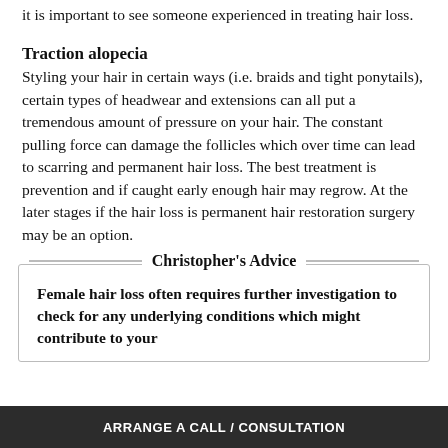it is important to see someone experienced in treating hair loss.
Traction alopecia
Styling your hair in certain ways (i.e. braids and tight ponytails), certain types of headwear and extensions can all put a tremendous amount of pressure on your hair. The constant pulling force can damage the follicles which over time can lead to scarring and permanent hair loss. The best treatment is prevention and if caught early enough hair may regrow. At the later stages if the hair loss is permanent hair restoration surgery may be an option.
Christopher's Advice
Female hair loss often requires further investigation to check for any underlying conditions which might contribute to your
ARRANGE A CALL / CONSULTATION